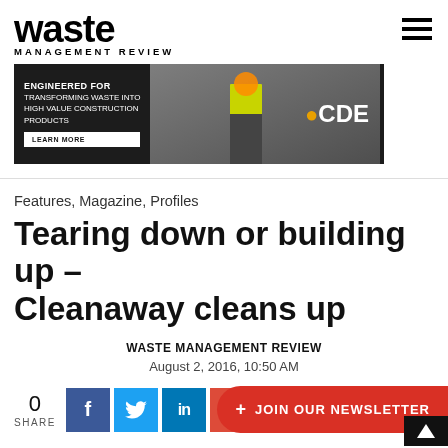waste MANAGEMENT REVIEW
[Figure (photo): CDE advertisement banner: dark background with construction worker in hi-vis vest, text 'ENGINEERED FOR TRANSFORMING WASTE INTO HIGH VALUE CONSTRUCTION PRODUCTS', Learn More button, CDE logo]
Features, Magazine, Profiles
Tearing down or building up – Cleanaway cleans up
WASTE MANAGEMENT REVIEW
August 2, 2016, 10:50 AM
0 SHARE
[Figure (other): Social share buttons: Facebook, Twitter, LinkedIn, Google Plus. JOIN OUR NEWSLETTER button in red.]